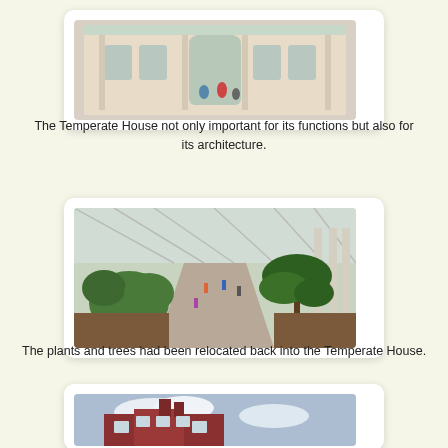[Figure (photo): Exterior of the Temperate House at Kew Gardens showing ornate Victorian glasshouse facade with arched entrance, decorative columns, and visitors entering]
The Temperate House not only important for its functions but also for its architecture.
[Figure (photo): Interior aerial view of the Temperate House showing lush tropical plants, tree ferns, a central pathway, and visitors walking among the greenery beneath the glass roof structure]
The plants and trees had been relocated back into the Temperate House.
[Figure (photo): Partial view of a red brick building exterior with cloudy sky background]